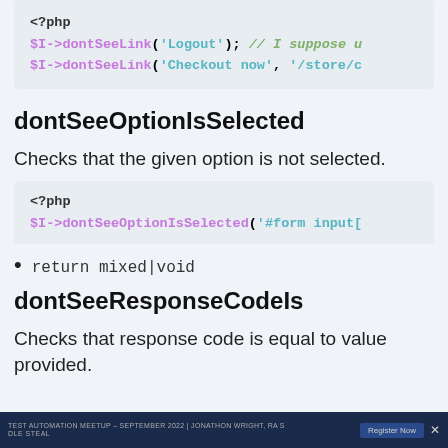[Figure (screenshot): PHP code block showing $I->dontSeeLink('Logout'); // I suppose u and $I->dontSeeLink('Checkout now', '/store/c]
dontSeeOptionIsSelected
Checks that the given option is not selected.
[Figure (screenshot): PHP code block showing <?php and $I->dontSeeOptionIsSelected('#form input[]
return mixed|void
dontSeeResponseCodeIs
Checks that response code is equal to value provided.
TEST AUTOMATION MEETUP – SEPTEMBER 2022 | JONATHON WRIGHT, RA S